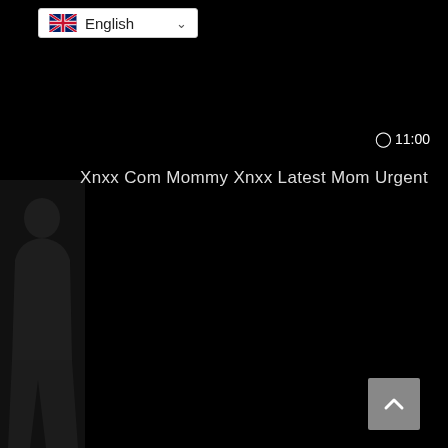[Figure (screenshot): Language selector dropdown showing UK flag and 'English' text with chevron]
⏱11:00
Xnxx Com Mommy Xnxx Latest Mom Urgent
[Figure (photo): Dark silhouette of a person on the left side of the screen against black background]
[Figure (other): Scroll-to-top button (grey square with upward chevron arrow) in bottom right corner]